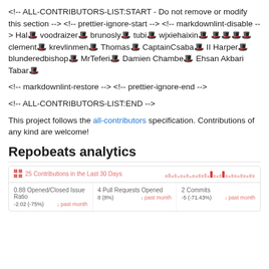<!-- ALL-CONTRIBUTORS-LIST:START - Do not remove or modify this section --> <!-- prettier-ignore-start --> <!-- markdownlint-disable --> Hal🎩 voodraizer🎩 brunosly🎩 tubi🎩 wjxiehaixin🎩 🎩🎩🎩🎩 clement🎩 krevlinmen🎩 Thomas🎩 CaptainCsaba🎩 II Harper🎩 blunderedbishop🎩 MrTeferi🎩 Damien Chambe🎩 Ehsan Akbari Tabar🎩
<!-- markdownlint-restore --> <!-- prettier-ignore-end -->
<!-- ALL-CONTRIBUTORS-LIST:END -->
This project follows the all-contributors specification. Contributions of any kind are welcome!
Repobeats analytics
[Figure (infographic): Repobeats analytics widget showing: 25 Contributions in the Last 30 Days; activity sparkline; 0.88 Opened/Closed Issue Ratio (-2.02, -75%, past month); 4 Pull Requests Opened (8 (8%), past month); 2 Commits (-5, -71.43%, past month)]